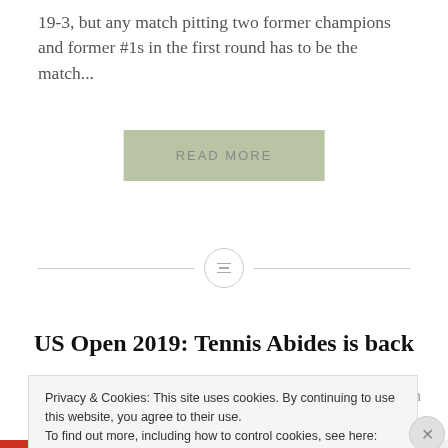19-3, but any match pitting two former champions and former #1s in the first round has to be the match...
READ MORE
[Figure (other): Horizontal divider line with a small circle icon containing three horizontal lines in the center]
US Open 2019: Tennis Abides is back
Privacy & Cookies: This site uses cookies. By continuing to use this website, you agree to their use. To find out more, including how to control cookies, see here: Cookie Policy
Close and accept